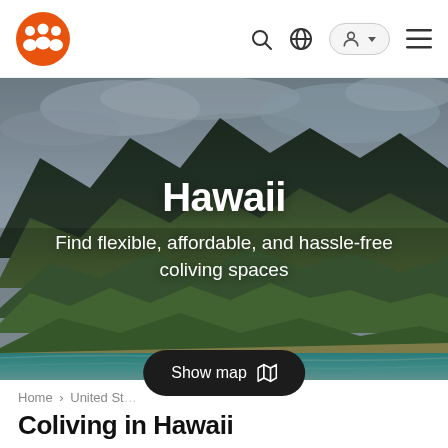[Figure (screenshot): Website navigation bar with orange logo showing three people icons, search icon, globe icon, user account pill button, and hamburger menu icon on white background]
[Figure (photo): Aerial photograph of Hawaii's Na Pali Coast showing dramatic green mountain cliffs, lush tropical vegetation, and turquoise ocean waters with cloudy sky]
Hawaii
Find flexible, affordable, and hassle-free coliving spaces
Home > United St...
Coliving in Hawaii
Show map